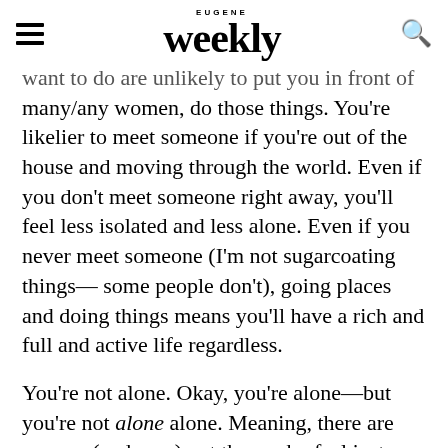EUGENE Weekly
want to do are unlikely to put you in front of many/any women, do those things. You're likelier to meet someone if you're out of the house and moving through the world. Even if you don't meet someone right away, you'll feel less isolated and less alone. Even if you never meet someone (I'm not sugarcoating things—some people don't), going places and doing things means you'll have a rich and full and active life regardless.

You're not alone. Okay, you're alone—but you're not alone alone. Meaning, there are women (and men) out there who feel just as paralyzed as you